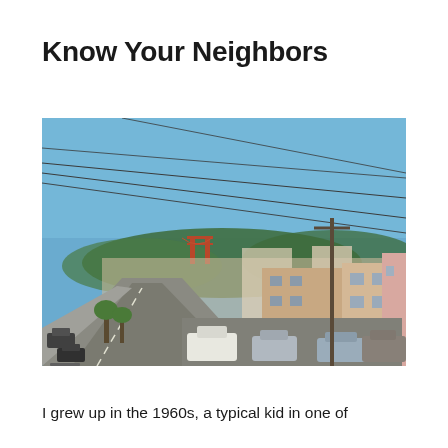Know Your Neighbors
[Figure (photo): Street-level view of a San Francisco residential neighborhood with row houses on the right, a road descending into the distance, cars parked along both sides, power lines overhead, and the Golden Gate Bridge visible in the background against a clear blue sky.]
I grew up in the 1960s, a typical kid in one of